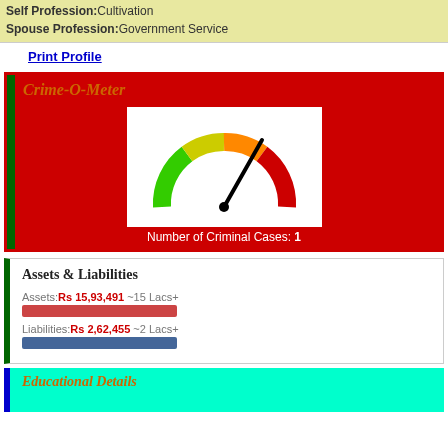Self Profession: Cultivation
Spouse Profession: Government Service
Print Profile
[Figure (infographic): Crime-O-Meter gauge showing a speedometer-style gauge with green, yellow, orange, red arc and a needle pointing to the high/red zone. Number of Criminal Cases: 1]
Assets & Liabilities
Assets: Rs 15,93,491 ~15 Lacs+
Liabilities: Rs 2,62,455 ~2 Lacs+
Educational Details